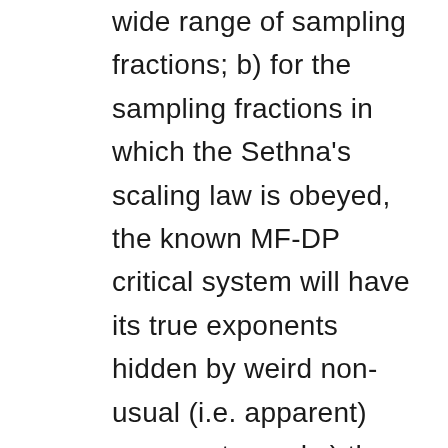wide range of sampling fractions; b) for the sampling fractions in which the Sethna's scaling law is obeyed, the known MF-DP critical system will have its true exponents hidden by weird non-usual (i.e. apparent) exponents; and c) these apparent exponents agree very well with the data from these experiments with unusual exponents, suggesting that indeed MF-DP should be lurking in the background of these systems and reconciling them with the